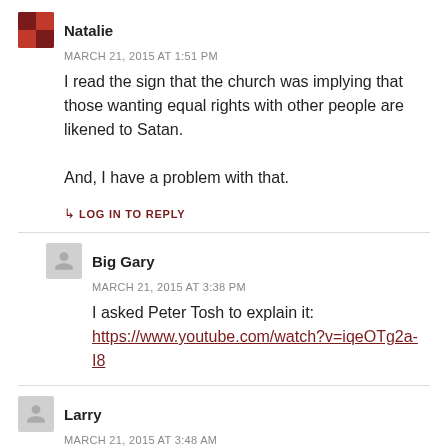Natalie
MARCH 21, 2015 AT 1:51 PM
I read the sign that the church was implying that those wanting equal rights with other people are likened to Satan.

And, I have a problem with that.
↳ LOG IN TO REPLY
Big Gary
MARCH 21, 2015 AT 3:38 PM
I asked Peter Tosh to explain it:
https://www.youtube.com/watch?v=iqeOTg2a-I8
Larry
MARCH 21, 2015 AT 3:48 AM